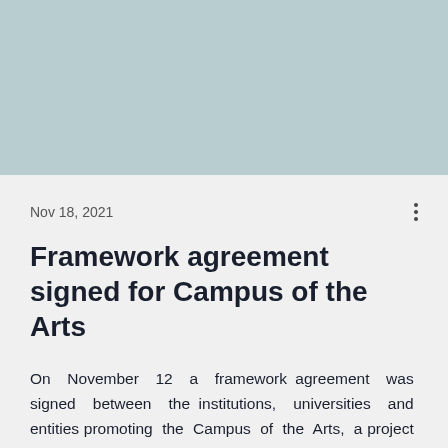[Figure (photo): Light blue-grey rectangular image placeholder at the top of the page]
Nov 18, 2021
Framework agreement signed for Campus of the Arts
On November 12 a framework agreement was signed between the institutions, universities and entities promoting the Campus of the Arts, a project that aims to strengthen higher education in the arts. The other...